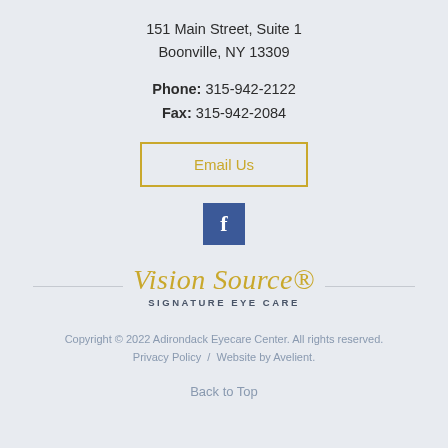151 Main Street, Suite 1
Boonville, NY 13309
Phone: 315-942-2122
Fax: 315-942-2084
Email Us
[Figure (logo): Facebook logo icon - blue square with white 'f']
[Figure (logo): Vision Source Signature Eye Care logo with golden script text and subtitle]
Copyright © 2022 Adirondack Eyecare Center. All rights reserved.
Privacy Policy  /  Website by Avelient.
Back to Top